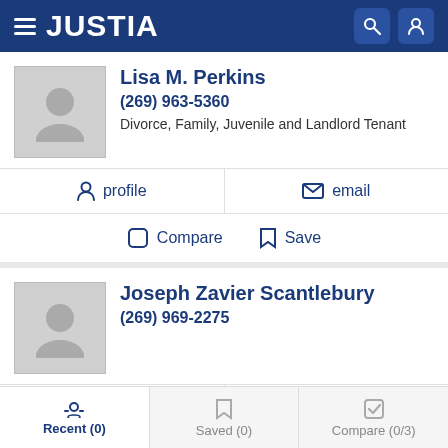JUSTIA
Lisa M. Perkins
(269) 963-5360
Divorce, Family, Juvenile and Landlord Tenant
profile  email
Compare  Save
Joseph Zavier Scantlebury
(269) 969-2275
profile  email
Compare  Save
Recent (0)  Saved (0)  Compare (0/3)